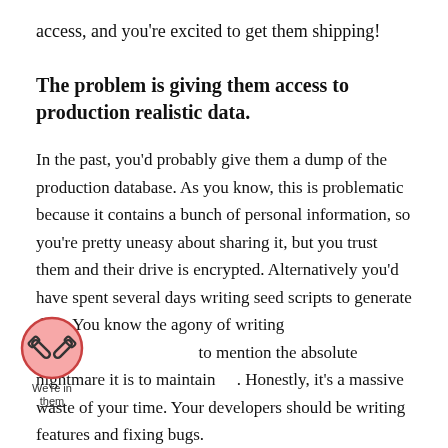access, and you're excited to get them shipping!
The problem is giving them access to production realistic data.
In the past, you'd probably give them a dump of the production database. As you know, this is problematic because it contains a bunch of personal information, so you're pretty uneasy about sharing it, but you trust them and their drive is encrypted. Alternatively you'd have spent several days writing seed scripts to generate data. You know the agony of writing these, not to mention the absolute nightmare it is to maintain them. Honestly, it's a massive waste of your time. Your developers should be writing features and fixing bugs.